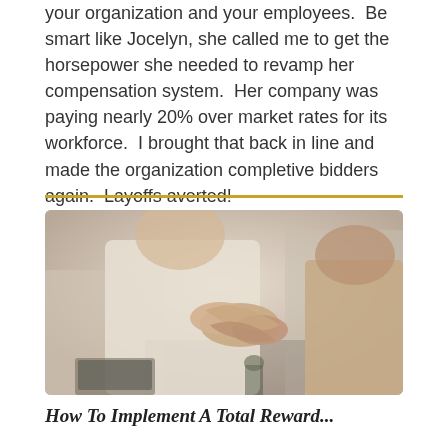your organization and your employees.  Be smart like Jocelyn, she called me to get the horsepower she needed to revamp her compensation system.  Her company was paying nearly 20% over market rates for its workforce.  I brought that back in line and made the organization completive bidders again.  Layoffs averted!
[Figure (photo): Two people shaking hands across a table, with a laptop visible in the background. One person wears a cream/beige sweater.]
How To Implement A Total Reward...